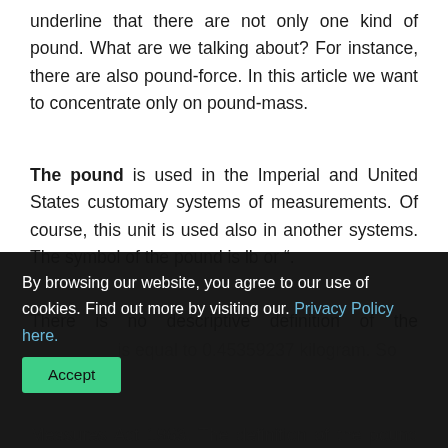underline that there are not only one kind of pound. What are we talking about? For instance, there are also pound-force. In this article we want to concentrate only on pound-mass.
The pound is used in the Imperial and United States customary systems of measurements. Of course, this unit is used also in another systems. The symbol of the pound is lb or ".
There is no descriptive definition of the international
By browsing our website, you agree to our use of cookies. Find out more by visiting our. Privacy Policy here. Accept
Measures Act 1963. The definition of the pound was given